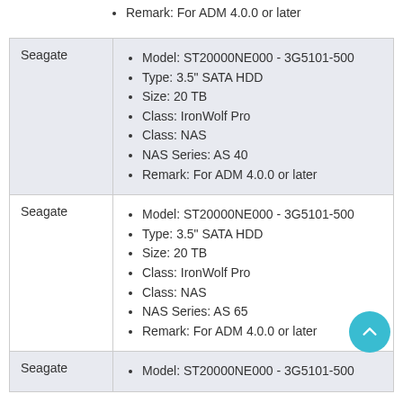Remark: For ADM 4.0.0 or later
| Brand | Details |
| --- | --- |
| Seagate | Model: ST20000NE000 - 3G5101-500 | Type: 3.5" SATA HDD | Size: 20 TB | Class: IronWolf Pro | Class: NAS | NAS Series: AS 40 | Remark: For ADM 4.0.0 or later |
| Seagate | Model: ST20000NE000 - 3G5101-500 | Type: 3.5" SATA HDD | Size: 20 TB | Class: IronWolf Pro | Class: NAS | NAS Series: AS 65 | Remark: For ADM 4.0.0 or later |
| Seagate | Model: ST20000NE000 - 3G5101-500 |